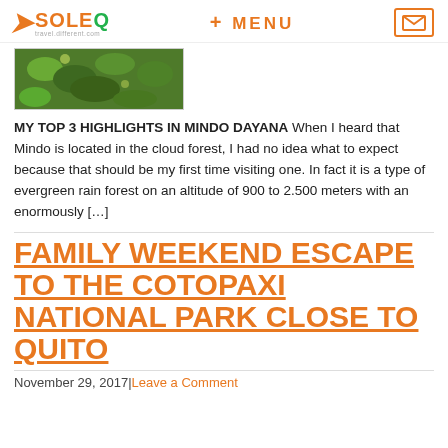YSOLEQ + MENU [mail icon]
[Figure (photo): Photograph of green leaves in a cloud forest, partially cropped at the top]
MY TOP 3 HIGHLIGHTS IN MINDO DAYANA When I heard that Mindo is located in the cloud forest, I had no idea what to expect because that should be my first time visiting one. In fact it is a type of evergreen rain forest on an altitude of 900 to 2.500 meters with an enormously […]
FAMILY WEEKEND ESCAPE TO THE COTOPAXI NATIONAL PARK CLOSE TO QUITO
November 29, 2017| Leave a Comment